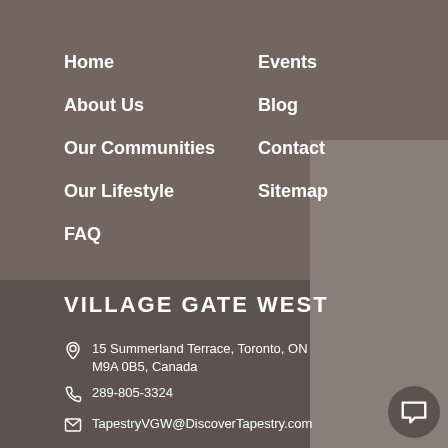Home
About Us
Our Communities
Our Lifestyle
FAQ
Events
Blog
Contact
Sitemap
VILLAGE GATE WEST
15 Summerland Terrace, Toronto, ON M9A 0B5, Canada
289-805-3324
TapestryVGW@DiscoverTapestry.com
ARBUTUS WALK